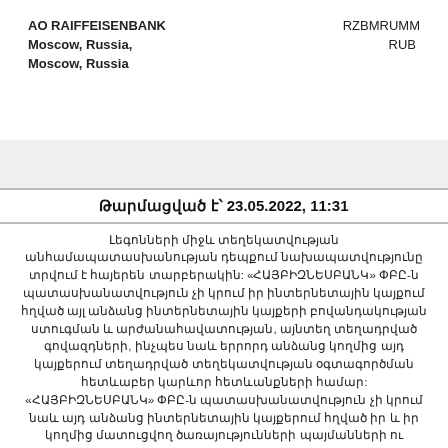AO RAIFFEISENBANK   RZBMRUMM
Moscow, Russia,   RUB
Moscow, Russia
Թարմացված է՝ 23.05.2022, 11:31
Լեգոնների միջև տեղեկատվության անհամապատասխանության դեպքում նախապատվությունը տրվում է հայերեն տարբերակին: «ՀԱՅԲԻԶՆԵՍԲԱՆԿ» ՓԲԸ-ն պատասխանատվություն չի կրում իր Ինտերնետային կայքում հղված այլ անձանց ինտերնետային կայքերի բովանդակության ստուգման և արժանահավատության, այնտեղ տեղադրված գովազդների, ինչպես նաև երրորդ անձանց կողմից այդ կայքերում տեղադրված տեղեկատվության օգտագործման հետևաբեր կարևոր հետևանքների համար: «ՀԱՅԲԻԶՆԵՍԲԱՆԿ» ՓԲԸ-ն պատասխանատվություն չի կրում նաև այդ անձանց ինտերնետային կայքերում հղված իր և իր կողմից մատուցվող ծառայությունների պայմանների ու սակագների մասին տեղեկատվության բովանդակության